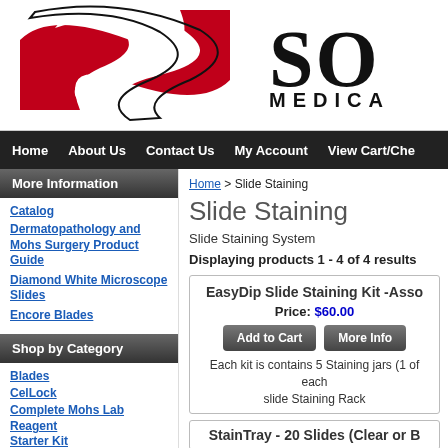[Figure (logo): Company logo with red S-shaped graphic and text 'SO MEDICA' (partially visible)]
Home | About Us | Contact Us | My Account | View Cart/Che
More Information
Catalog
Dermatopathology and Mohs Surgery Product Guide
Diamond White Microscope Slides
Encore Blades
Shop by Category
Blades
CelLock
Complete Mohs Lab Reagent Starter Kit
Consulting Folder for Slides
Home > Slide Staining
Slide Staining
Slide Staining System
Displaying products 1 - 4 of 4 results
EasyDip Slide Staining Kit -Asso
Price: $60.00
Add to Cart  More Info
Each kit is contains 5 Staining jars (1 of each slide Staining Rack
StainTray - 20 Slides (Clear or B